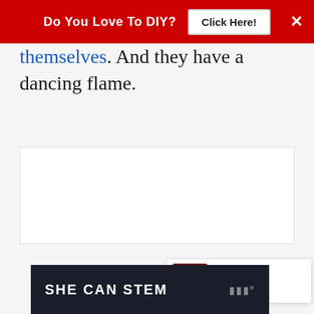[Figure (screenshot): Red banner advertisement: 'Do You Love To DIY?' with a 'Click Here!' button and an X close button]
themselves. And they have a dancing flame.
[Figure (screenshot): White/light gray empty content area placeholder]
[Figure (infographic): Floating red heart favorite button and white share button on right side]
[Figure (screenshot): WHAT'S NEXT widget showing '11 Fabulous Fall Home...' with a thumbnail]
[Figure (screenshot): Bottom advertisement banner: 'SHE CAN STEM' on dark background with logo]